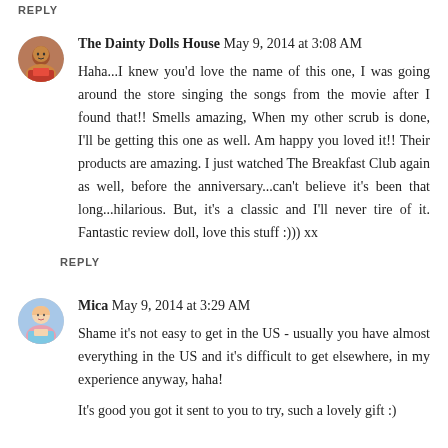REPLY
The Dainty Dolls House  May 9, 2014 at 3:08 AM
Haha...I knew you'd love the name of this one, I was going around the store singing the songs from the movie after I found that!! Smells amazing, When my other scrub is done, I'll be getting this one as well. Am happy you loved it!! Their products are amazing. I just watched The Breakfast Club again as well, before the anniversary...can't believe it's been that long...hilarious. But, it's a classic and I'll never tire of it. Fantastic review doll, love this stuff :))) xx
REPLY
Mica  May 9, 2014 at 3:29 AM
Shame it's not easy to get in the US - usually you have almost everything in the US and it's difficult to get elsewhere, in my experience anyway, haha!
It's good you got it sent to you to try, such a lovely gift :)